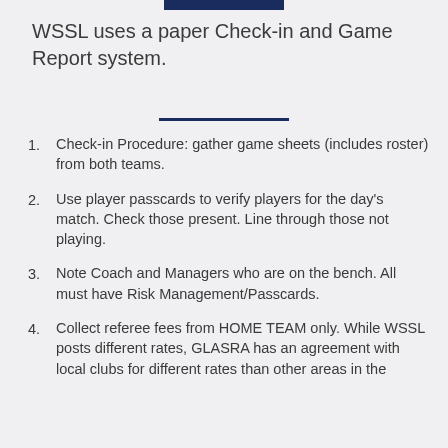WSSL uses a paper Check-in and Game Report system.
Check-in Procedure: gather game sheets (includes roster) from both teams.
Use player passcards to verify players for the day's match. Check those present. Line through those not playing.
Note Coach and Managers who are on the bench. All must have Risk Management/Passcards.
Collect referee fees from HOME TEAM only. While WSSL posts different rates, GLASRA has an agreement with local clubs for different rates than other areas in the